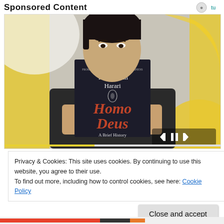Sponsored Content
[Figure (photo): A person holding up a dark-colored book 'Homo Deus' by Yuval Noah Harari, covering their face from the nose down. The background has yellow and white geometric shapes. Media player controls (skip back, pause, skip forward) are visible in the lower right corner. A yellow progress bar runs along the bottom of the image.]
Privacy & Cookies: This site uses cookies. By continuing to use this website, you agree to their use.
To find out more, including how to control cookies, see here: Cookie Policy
Close and accept